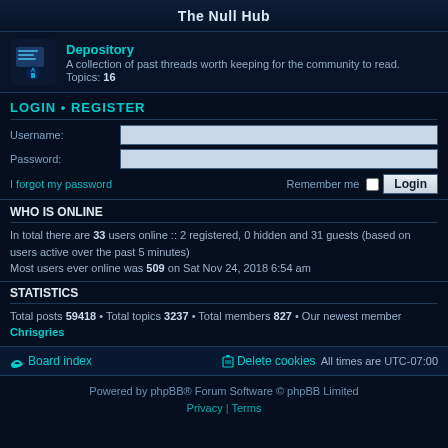The Null Hub
Depository
A collection of past threads worth keeping for the community to read. Topics: 16
LOGIN • REGISTER
Username:
Password:
I forgot my password   Remember me  Login
WHO IS ONLINE
In total there are 33 users online :: 2 registered, 0 hidden and 31 guests (based on users active over the past 5 minutes)
Most users ever online was 509 on Sat Nov 24, 2018 6:54 am
STATISTICS
Total posts 59418 • Total topics 3237 • Total members 827 • Our newest member Chrisgries
Board index   Delete cookies   All times are UTC-07:00
Powered by phpBB® Forum Software © phpBB Limited
Privacy | Terms